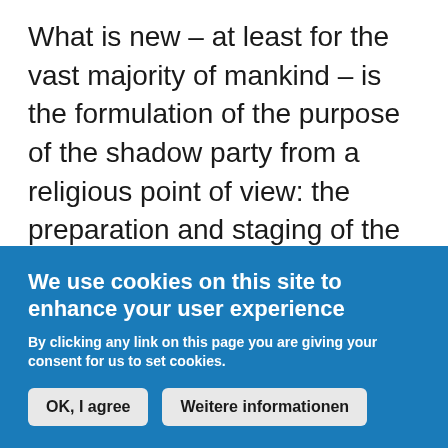What is new – at least for the vast majority of mankind – is the formulation of the purpose of the shadow party from a religious point of view: the preparation and staging of the return Christi at the same time as the destruction of the world and the death of billions of people. This very powerful group is trying to drive the world in a certain direction because of their interpretation of a prophecy that Greer says has already happened. An Armageddon prophecy, born of ignorance, superstition and hatred. Ignorance is
We use cookies on this site to enhance your user experience
By clicking any link on this page you are giving your consent for us to set cookies.
OK, I agree
Weitere informationen